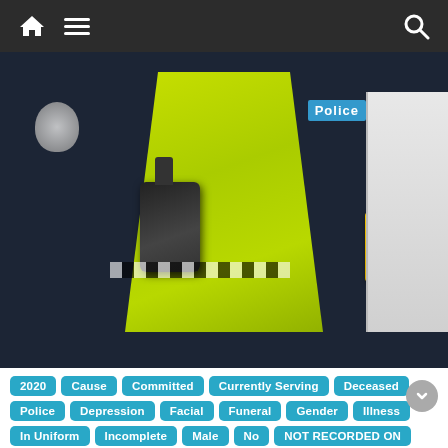Navigation bar with home, menu, and search icons
[Figure (photo): Close-up photo of a police officer in a dark navy uniform wearing a high-visibility yellow vest with 'Police' label, a radio/walkie-talkie clipped to the vest, a taser in a yellow holster on the right, a police badge on the shoulder, and a police vehicle visible in the background.]
2020  Cause  Committed  Currently Serving  Deceased  Police  Depression  Facial  Funeral  Gender  Illness  In Uniform  Incomplete  Male  No  NOT RECORDED ON